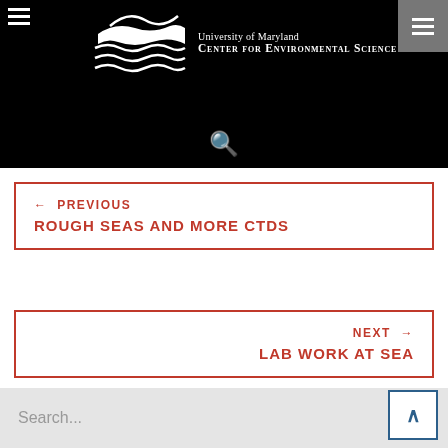[Figure (logo): University of Maryland Center for Environmental Science logo — white waves and sun on black background]
University of Maryland CENTER FOR ENVIRONMENTAL SCIENCE
← PREVIOUS
ROUGH SEAS AND MORE CTDS
NEXT →
LAB WORK AT SEA
Search...